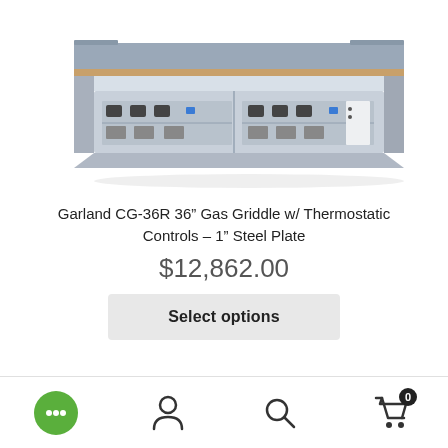[Figure (photo): Garland CG-36R 36 inch gas griddle with thermostatic controls and 1 inch steel plate, viewed from front-side angle showing control knobs, burner igniters, and stainless steel body with wood accent at back.]
Garland CG-36R 36” Gas Griddle w/ Thermostatic Controls – 1” Steel Plate
$12,862.00
Select options